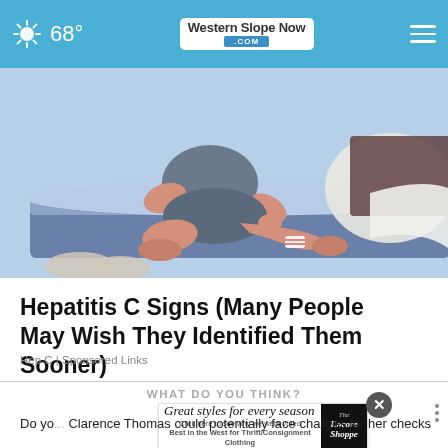68° | Western Slope Now .COM
[Figure (illustration): Illustration of a person sitting on a bed scratching or touching their leg, depicted in a flat cartoon style with blue-grey tones]
Hepatitis C Signs (Many People May Wish They Identified Them Sooner)
Hep C | Sponsored Links
WHAT DO YOU THINK?
[Figure (screenshot): Advertisement banner: 'Great styles for every season - Click here to see why we were voted Best in the West for Thrift/Consignment Clothing' with The Encore Shoppe logo]
Do you... Clarence Thomas could potentially face charges for her checks